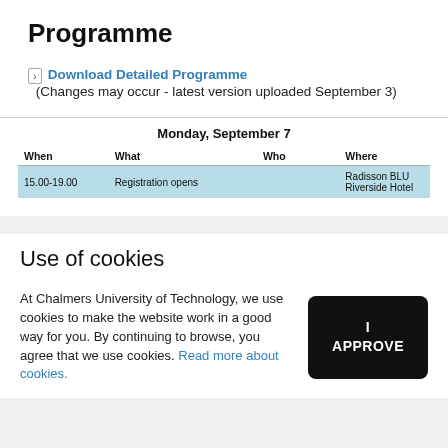Programme
> Download Detailed Programme (Changes may occur - latest version uploaded September 3)
| When | What | Who | Where |
| --- | --- | --- | --- |
| 15.00-19.00 | Registration opens |  | Radisson BLU Riverside Hotel |
Use of cookies
At Chalmers University of Technology, we use cookies to make the website work in a good way for you. By continuing to browse, you agree that we use cookies. Read more about cookies.